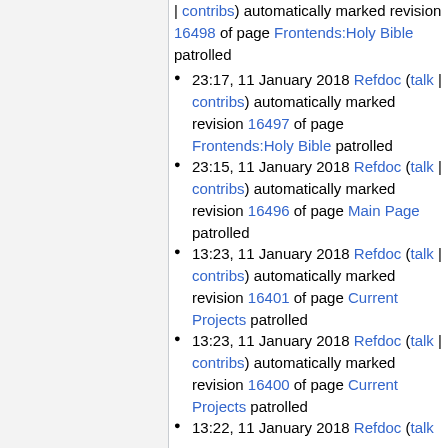| contribs) automatically marked revision 16498 of page Frontends:Holy Bible patrolled
23:17, 11 January 2018 Refdoc (talk | contribs) automatically marked revision 16497 of page Frontends:Holy Bible patrolled
23:15, 11 January 2018 Refdoc (talk | contribs) automatically marked revision 16496 of page Main Page patrolled
13:23, 11 January 2018 Refdoc (talk | contribs) automatically marked revision 16401 of page Current Projects patrolled
13:23, 11 January 2018 Refdoc (talk | contribs) automatically marked revision 16400 of page Current Projects patrolled
13:22, 11 January 2018 Refdoc (talk